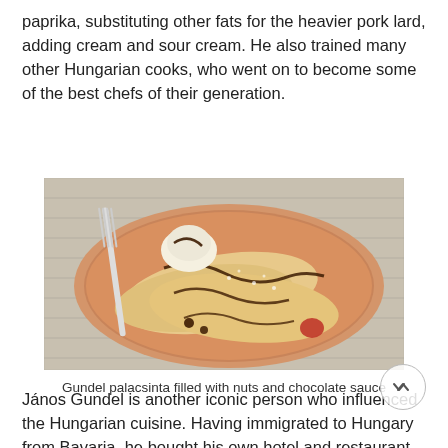paprika, substituting other fats for the heavier pork lard, adding cream and sour cream. He also trained many other Hungarian cooks, who went on to become some of the best chefs of their generation.
[Figure (photo): A plate of Gundel palacsinta (Hungarian crepes) filled with nuts and drizzled with chocolate sauce, served on a tan/orange plate with a fork and garnish, placed on a decorative tablecloth.]
Gundel palacsinta filled with nuts and chocolate sauce
János Gundel is another iconic person who influenced the Hungarian cuisine. Having immigrated to Hungary from Bavaria, he bought his own hotel and restaurant in Pest and refined many of the traditional Hungarian dishes, making them